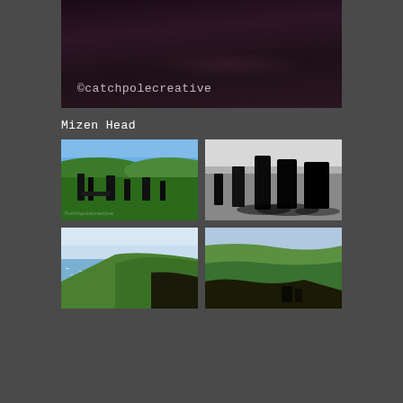[Figure (photo): Dark road/pavement photograph with purple-dark tones, watermarked with ©catchpolecreative]
©catchpolecreative
Mizen Head
[Figure (photo): Color photograph of standing stones in green Irish landscape with blue sky]
[Figure (photo): Black and white photograph of standing stones with dramatic shadows]
[Figure (photo): Color photograph of coastal cliffs with ocean view, bright sky]
[Figure (photo): Color photograph of rugged coastal cliffs with ocean and green hills]